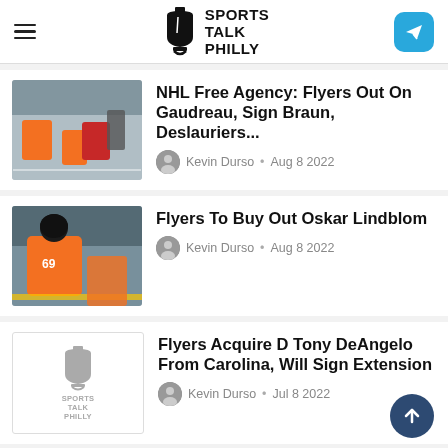Sports Talk Philly
NHL Free Agency: Flyers Out On Gaudreau, Sign Braun, Deslauriers...
Kevin Durso • Aug 8 2022
Flyers To Buy Out Oskar Lindblom
Kevin Durso • Aug 8 2022
Flyers Acquire D Tony DeAngelo From Carolina, Will Sign Extension
Kevin Durso • Jul 8 2022